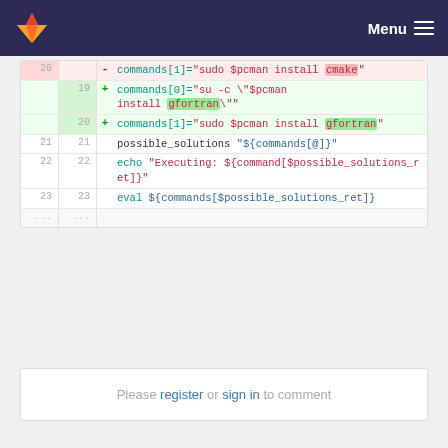Menu
[Figure (screenshot): GitLab code diff showing changes to shell script: line 20 removed (commands[1]="sudo $pcman install cmake"), lines 19-20 added (commands[0]="su -c \"$pcman install gfortran\"", commands[1]="sudo $pcman install gfortran"), with context lines 21-23 showing possible_solutions "${commands[@]}", echo "Executing: ${command[$possible_solutions_ret]}", eval ${commands[$possible_solutions_ret]}, followed by ellipsis.]
Please register or sign in to comment